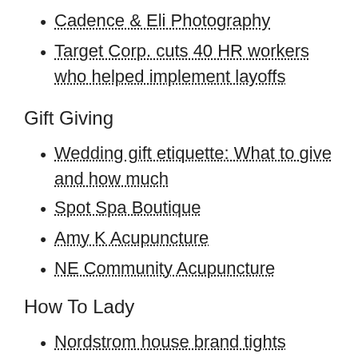Cadence & Eli Photography
Target Corp. cuts 40 HR workers who helped implement layoffs
Gift Giving
Wedding gift etiquette: What to give and how much
Spot Spa Boutique
Amy K Acupuncture
NE Community Acupuncture
How To Lady
Nordstrom house brand tights
Monistat non-chaffing powder
Bodyglide Anti-chafe